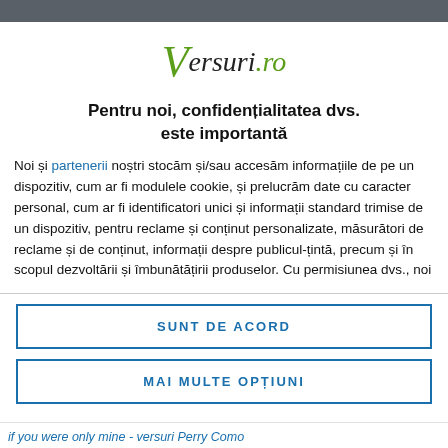[Figure (logo): Versuri.ro logo with stylized italic V in green and the rest of the text in dark/green]
Pentru noi, confidențialitatea dvs. este importantă
Noi și partenerii noștri stocăm și/sau accesăm informațiile de pe un dispozitiv, cum ar fi modulele cookie, și prelucrăm date cu caracter personal, cum ar fi identificatori unici și informații standard trimise de un dispozitiv, pentru reclame și conținut personalizate, măsurători de reclame și de conținut, informații despre publicul-țintă, precum și în scopul dezvoltării și îmbunătățirii produselor. Cu permisiunea dvs., noi
SUNT DE ACORD
MAI MULTE OPȚIUNI
if you were only mine - versuri Perry Como